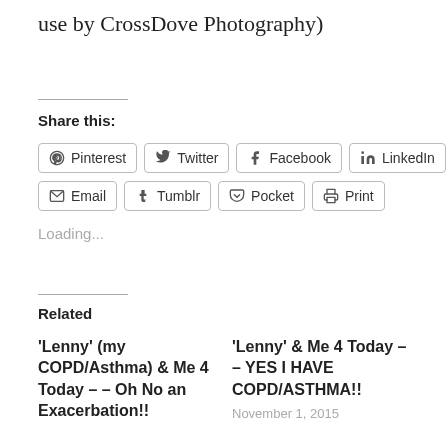use by CrossDove Photography)
Share this:
Pinterest  Twitter  Facebook  LinkedIn  Email  Tumblr  Pocket  Print
Loading...
Related
‘Lenny’ (my COPD/Asthma) & Me 4 Today – – Oh No an Exacerbation!!
‘Lenny’ & Me 4 Today – – YES I HAVE COPD/ASTHMA!!
November 1, 2015